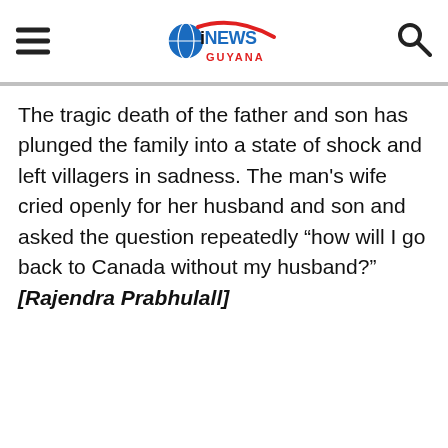iNEWS GUYANA
The tragic death of the father and son has plunged the family into a state of shock and left villagers in sadness. The man's wife cried openly for her husband and son and asked the question repeatedly “how will I go back to Canada without my husband?” [Rajendra Prabhulall]